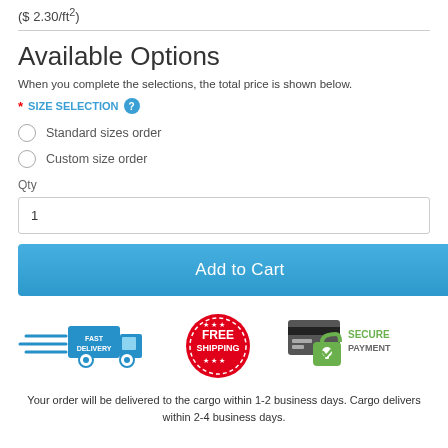($ 2.30/ft²)
Available Options
When you complete the selections, the total price is shown below.
* SIZE SELECTION ?
Standard sizes order
Custom size order
Qty
1
Add to Cart
[Figure (infographic): Three badges: Fast Delivery (blue truck), Free Shipping (red stamp circle), Secure Payment (credit card with padlock)]
Your order will be delivered to the cargo within 1-2 business days. Cargo delivers within 2-4 business days.